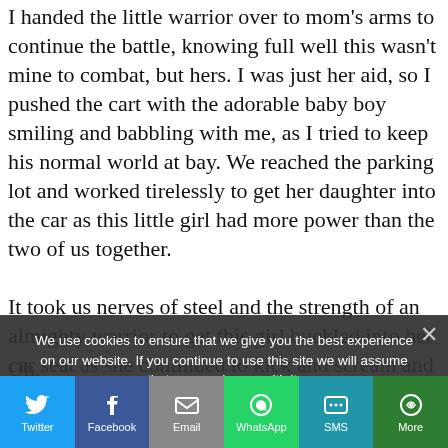I handed the little warrior over to mom's arms to continue the battle, knowing full well this wasn't mine to combat, but hers. I was just her aid, so I pushed the cart with the adorable baby boy smiling and babbling with me, as I tried to keep his normal world at bay. We reached the parking lot and worked tirelessly to get her daughter into the car as this little girl had more power than the two of us together.

It took us nerves of steel and the strength of an almighty warrior to get this girl buckled into her car seat as she continued to kick and scream and pull our hair as we got close to her.
We use cookies to ensure that we give you the best experience on our website. If you continue to use this site we will assume that you are happy with it.
Oh,
[Figure (other): Social media share bar with Twitter, Facebook, Email, WhatsApp, SMS, and More buttons]